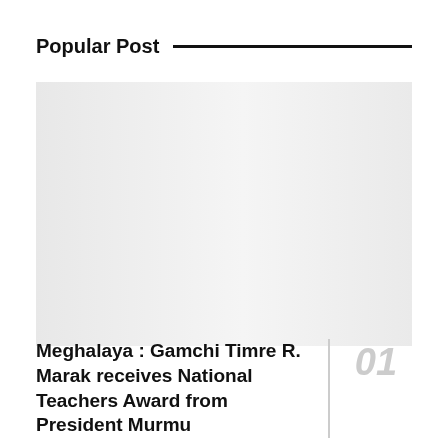Popular Post
[Figure (photo): Large light gray rectangular image placeholder area]
Meghalaya : Gamchi Timre R. Marak receives National Teachers Award from President Murmu